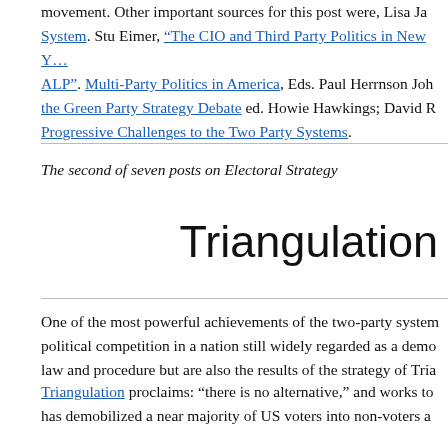movement. Other important sources for this post were, Lisa Ja... System. Stu Eimer, “The CIO and Third Party Politics in New Y... ALP”. Multi-Party Politics in America, Eds. Paul Herrnson Joh... the Green Party Strategy Debate ed. Howie Hawkings; David R... Progressive Challenges to the Two Party Systems.
The second of seven posts on Electoral Strategy
Triangulation
One of the most powerful achievements of the two-party system... political competition in a nation still widely regarded as a demo... law and procedure but are also the results of the strategy of Tria...
Triangulation proclaims: “there is no alternative,” and works to... has demobilized a near majority of US voters into non-voters a...